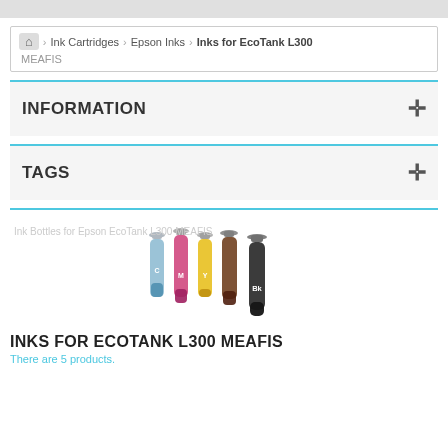Home > Ink Cartridges > Epson Inks > Inks for EcoTank L300 MEAFIS
INFORMATION
TAGS
[Figure (photo): Ink Bottles for Epson EcoTank L300 MEAFIS - five ink bottles in cyan, magenta, yellow, black and an additional color]
Ink Bottles for Epson EcoTank L300 MEAFIS
INKS FOR ECOTANK L300 MEAFIS
There are 5 products.